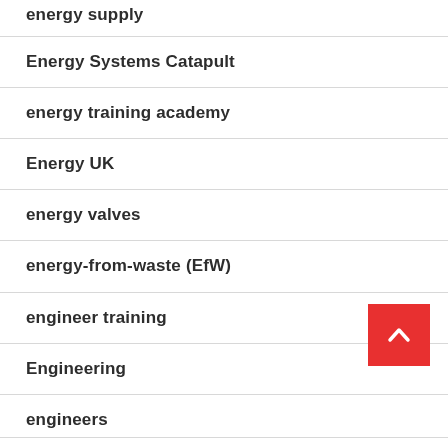energy supply
Energy Systems Catapult
energy training academy
Energy UK
energy valves
energy-from-waste (EfW)
engineer training
Engineering
engineers